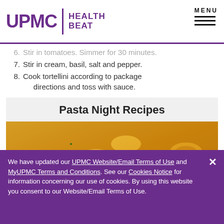UPMC | HEALTH BEAT    MENU
6. Stir in tomatoes. Simmer for 30 minutes.
7. Stir in cream, basil, salt and pepper.
8. Cook tortellini according to package directions and toss with sauce.
Pasta Night Recipes
[Figure (photo): Close-up photo of cheesy tortellini pasta dish garnished with fresh herbs in a pan]
We have updated our UPMC Website/Email Terms of Use and MyUPMC Terms and Conditions. See our Cookies Notice for information concerning our use of cookies. By using this website you consent to our Website/Email Terms of Use.